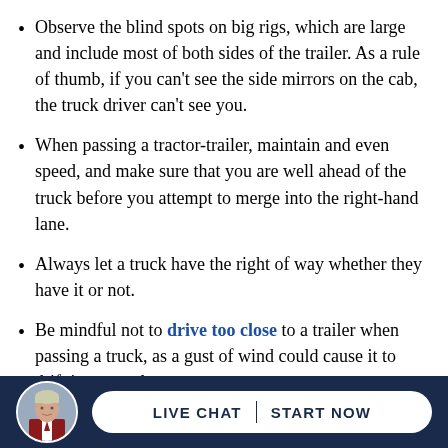Observe the blind spots on big rigs, which are large and include most of both sides of the trailer. As a rule of thumb, if you can't see the side mirrors on the cab, the truck driver can't see you.
When passing a tractor-trailer, maintain and even speed, and make sure that you are well ahead of the truck before you attempt to merge into the right-hand lane.
Always let a truck have the right of way whether they have it or not.
Be mindful not to drive too close to a trailer when passing a truck, as a gust of wind could cause it to drift into your lane.